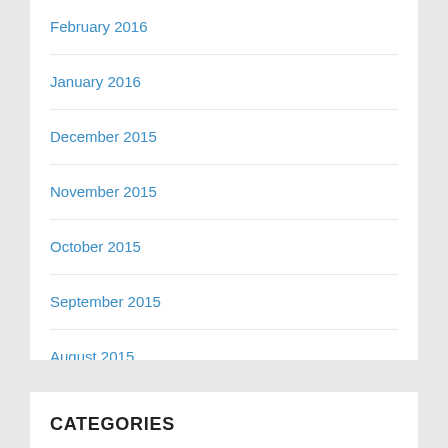February 2016
January 2016
December 2015
November 2015
October 2015
September 2015
August 2015
CATEGORIES
Aspergers